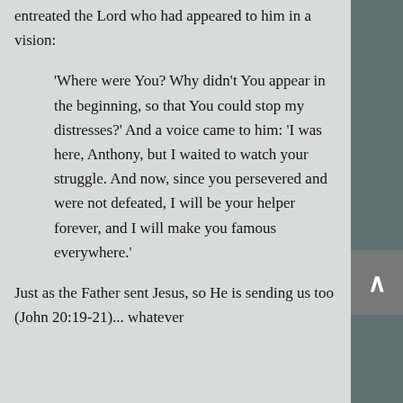entreated the Lord who had appeared to him in a vision:
'Where were You? Why didn't You appear in the beginning, so that You could stop my distresses?' And a voice came to him: 'I was here, Anthony, but I waited to watch your struggle. And now, since you persevered and were not defeated, I will be your helper forever, and I will make you famous everywhere.'
Just as the Father sent Jesus, so He is sending us too (John 20:19-21)... whatever